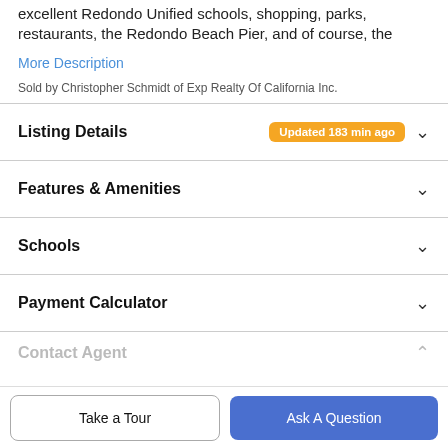excellent Redondo Unified schools, shopping, parks, restaurants, the Redondo Beach Pier, and of course, the
More Description
Sold by Christopher Schmidt of Exp Realty Of California Inc.
Listing Details  Updated 183 min ago
Features & Amenities
Schools
Payment Calculator
Contact Agent
Take a Tour
Ask A Question